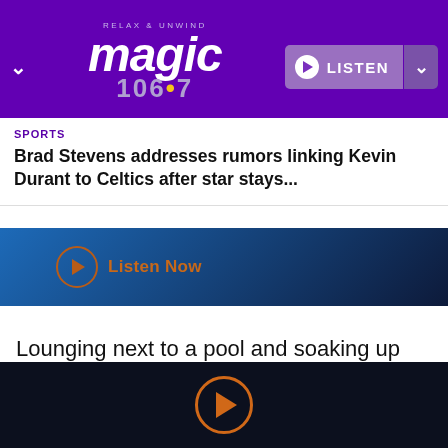RELAX & UNWIND
magic 106.7 — LISTEN
SPORTS
Brad Stevens addresses rumors linking Kevin Durant to Celtics after star stays...
[Figure (screenshot): Blue gradient banner with orange circle play button and 'Listen Now' text]
Lounging next to a pool and soaking up some rays, the 47-year-old actress upped the summer ante by wearing a bright yellow two-piece bikini from Melissa Odabash.
[Figure (other): Dark bottom bar with orange circle play button icon]